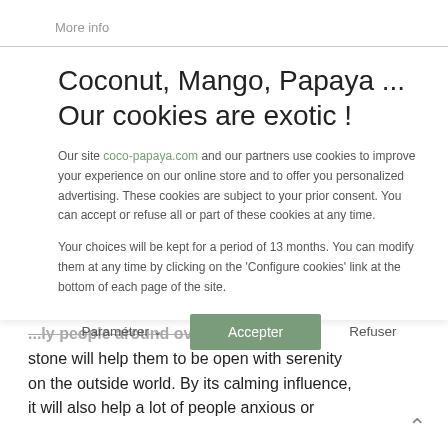More info
Coconut, Mango, Papaya ... Our cookies are exotic !
Our site coco-papaya.com and our partners use cookies to improve your experience on our online store and to offer you personalized advertising. These cookies are subject to your prior consent. You can accept or refuse all or part of these cookies at any time.
Your choices will be kept for a period of 13 months. You can modify them at any time by clicking on the 'Configure cookies' link at the bottom of each page of the site.
Paramétrer  Accepter  Refuser
...ly people around over. Because this stone will help them to be open with serenity on the outside world. By its calming influence, it will also help a lot of people anxious or